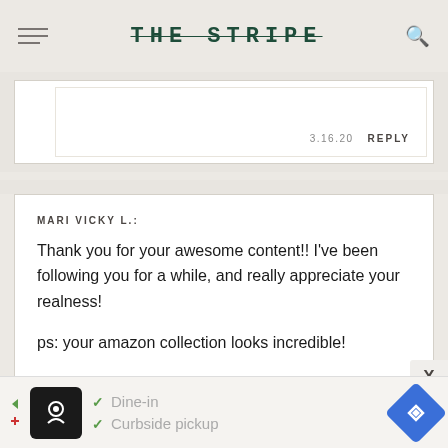THE STRIPE
3.16.20  REPLY
MARI VICKY L.:
Thank you for your awesome content!! I've been following you for a while, and really appreciate your realness!

ps: your amazon collection looks incredible!
3.16.20  REPLY
[Figure (screenshot): Advertisement banner showing a restaurant app with dine-in and curbside pickup options]